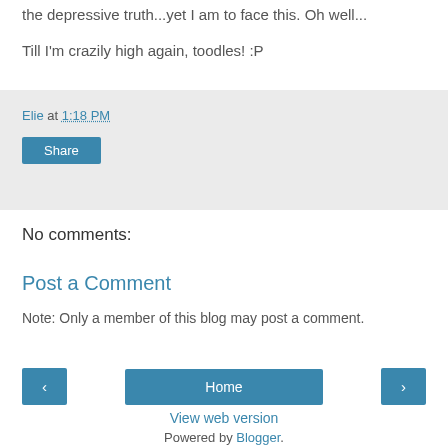the depressive truth...yet I am to face this. Oh well...
Till I'm crazily high again, toodles! :P
Elie at 1:18 PM
Share
No comments:
Post a Comment
Note: Only a member of this blog may post a comment.
Home
View web version
Powered by Blogger.